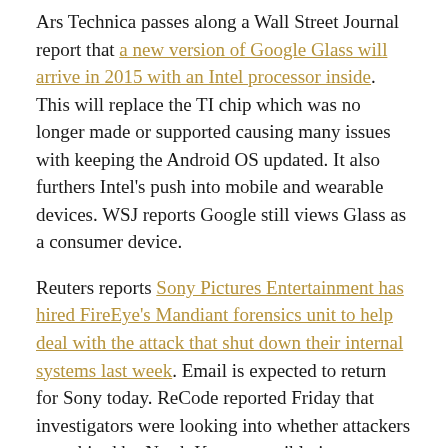Ars Technica passes along a Wall Street Journal report that a new version of Google Glass will arrive in 2015 with an Intel processor inside. This will replace the TI chip which was no longer made or supported causing many issues with keeping the Android OS updated. It also furthers Intel's push into mobile and wearable devices. WSJ reports Google still views Glass as a consumer device.
Reuters reports Sony Pictures Entertainment has hired FireEye's Mandiant forensics unit to help deal with the attack that shut down their internal systems last week. Email is expected to return for Sony today. ReCode reported Friday that investigators were looking into whether attackers were hired by North Korea, possibly in retaliation for the upcoming Sony Movie "The